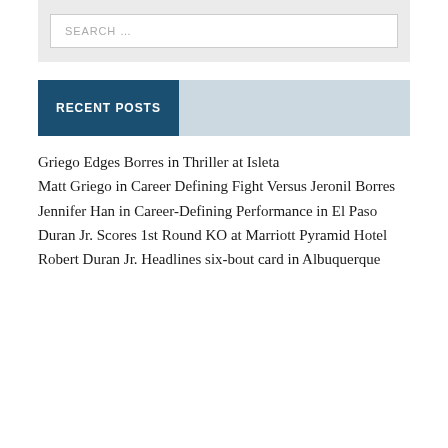SEARCH …
RECENT POSTS
Griego Edges Borres in Thriller at Isleta
Matt Griego in Career Defining Fight Versus Jeronil Borres
Jennifer Han in Career-Defining Performance in El Paso
Duran Jr. Scores 1st Round KO at Marriott Pyramid Hotel
Robert Duran Jr. Headlines six-bout card in Albuquerque